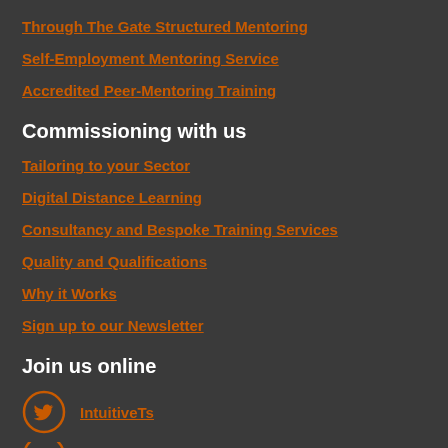Through The Gate Structured Mentoring
Self-Employment Mentoring Service
Accredited Peer-Mentoring Training
Commissioning with us
Tailoring to your Sector
Digital Distance Learning
Consultancy and Bespoke Training Services
Quality and Qualifications
Why it Works
Sign up to our Newsletter
Join us online
IntuitiveTs